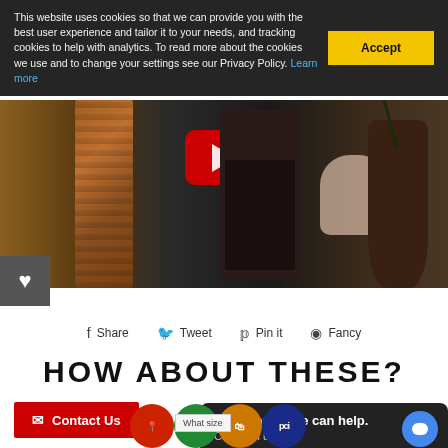This website uses cookies so that we can provide you with the best user experience and tailor it to your needs, and tracking cookies to help with analytics. To read more about the cookies we use and to change your settings see our Privacy Policy. Learn more
[Figure (photo): Screenshot of a website showing a YouTube video thumbnail with firewood, a wood-burning stove being operated by a hand, and decorative plants in the background. A heart/favorite button is visible on the left side.]
Share
Tweet
Pin it
Fancy
HOW ABOUT THESE?
Contact Us
Questions? We can help. Chat with us now
What size